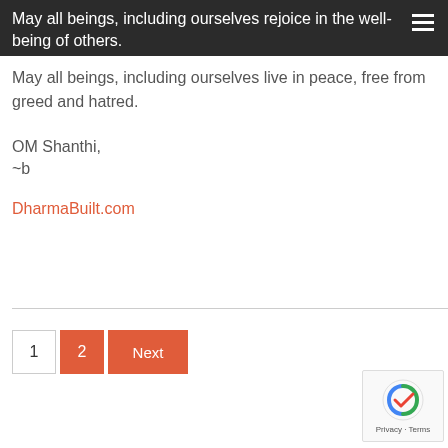May all beings, including ourselves rejoice in the well-being of others.
May all beings, including ourselves live in peace, free from greed and hatred.
OM Shanthi,
~b
DharmaBuilt.com
1  2  Next